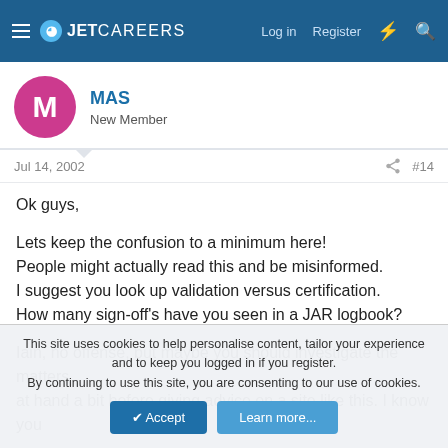JETCAREERS — Log in | Register
MAS
New Member
Jul 14, 2002  #14
Ok guys,

Lets keep the confusion to a minimum here!
People might actually read this and be misinformed.
I suggest you look up validation versus certification.
How many sign-off's have you seen in a JAR logbook?

Iain, no offense, but maybe you should investigate the matters at hand a bit before giving advice on a site like this. I know you
This site uses cookies to help personalise content, tailor your experience and to keep you logged in if you register.
By continuing to use this site, you are consenting to our use of cookies.